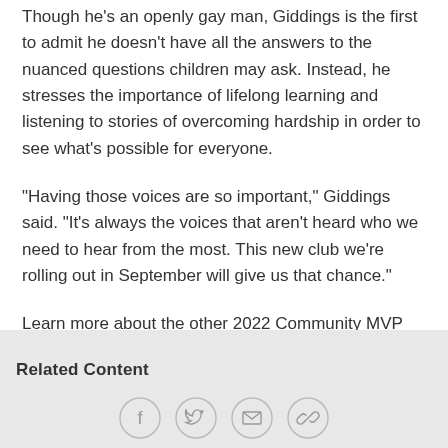Though he's an openly gay man, Giddings is the first to admit he doesn't have all the answers to the nuanced questions children may ask. Instead, he stresses the importance of lifelong learning and listening to stories of overcoming hardship in order to see what's possible for everyone.
"Having those voices are so important," Giddings said. "It's always the voices that aren't heard who we need to hear from the most. This new club we're rolling out in September will give us that chance."
Learn more about the other 2022 Community MVP Award recipients here.
Related Content